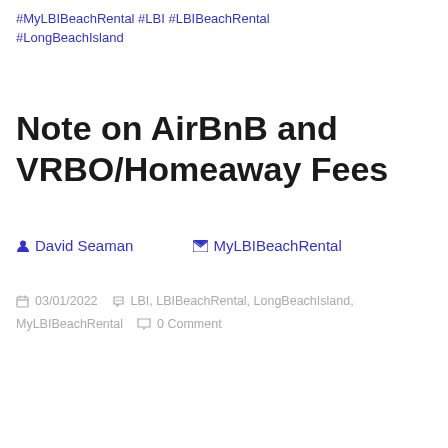#MyLBIBeachRental #LBI #LBIBeachRental #LongBeachIsland
Note on AirBnB and VRBO/Homeaway Fees
David Seaman   MyLBIBeachRental
03/01/2022   LBI, LBIBeachRental, LongBeachIsland, MyLBIBeachRental   0 Comment